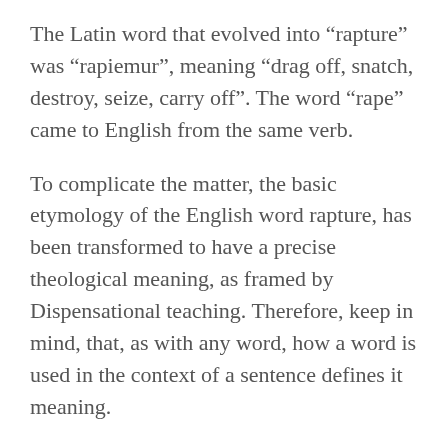The Latin word that evolved into “rapture” was “rapiemur”, meaning “drag off, snatch, destroy, seize, carry off”. The word “rape” came to English from the same verb.
To complicate the matter, the basic etymology of the English word rapture, has been transformed to have a precise theological meaning, as framed by Dispensational teaching. Therefore, keep in mind, that, as with any word, how a word is used in the context of a sentence defines it meaning.
The word rapture could mean, “a state or experience of being carried away by overwhelming emotion.” “The people listened